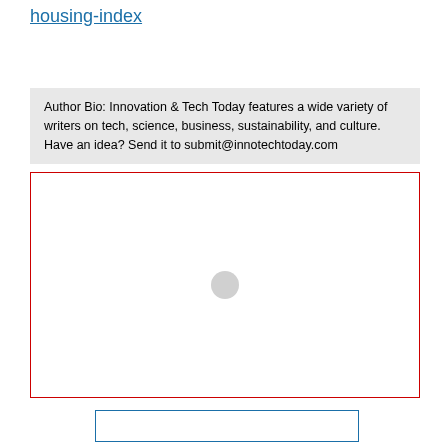housing-index
Author Bio: Innovation & Tech Today features a wide variety of writers on tech, science, business, sustainability, and culture. Have an idea? Send it to submit@innotechtoday.com
[Figure (other): Empty red-bordered rectangle with a small grey circle in the center, likely a placeholder for an image or advertisement]
[Figure (other): Empty blue-bordered rectangle at the bottom, likely a placeholder for additional content]